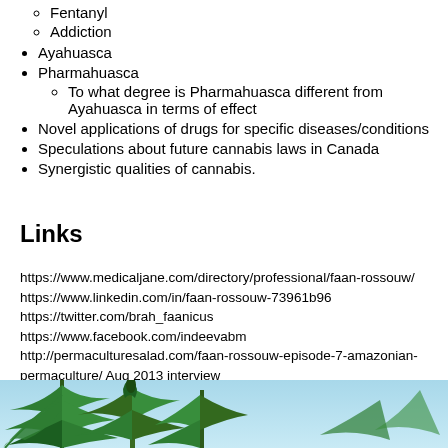Fentanyl
Addiction
Ayahuasca
Pharmahuasca
To what degree is Pharmahuasca different from Ayahuasca in terms of effect
Novel applications of drugs for specific diseases/conditions
Speculations about future cannabis laws in Canada
Synergistic qualities of cannabis.
Links
https://www.medicaljane.com/directory/professional/faan-rossouw/ https://www.linkedin.com/in/faan-rossouw-73961b96 https://twitter.com/brah_faanicus https://www.facebook.com/indeevabm http://permaculturesalad.com/faan-rossouw-episode-7-amazonian-permaculture/ Aug 2013 interview
[Figure (photo): Cannabis plant with green leaves against a light blue sky background]